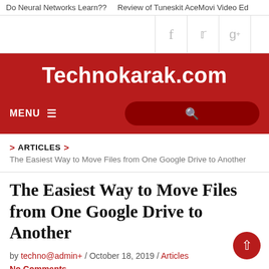Do Neural Networks Learn??	Review of Tuneskit AceMovi Video Ed
[Figure (screenshot): Website header with social icons (Facebook, Twitter, Google+) and Technokarak.com logo on red background with MENU and search bar]
> ARTICLES > The Easiest Way to Move Files from One Google Drive to Another
The Easiest Way to Move Files from One Google Drive to Another
by techno@admin+ / October 18, 2019 / Articles
No Comments